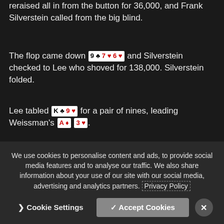reraised all in from the button for 36,000, and Frank Silverstein called from the big blind.
The flop came down 9♣ 7♥ 6♥ and Silverstein checked to Lee who shoved for 138,000. Silverstein folded.
Lee tabled K♣ 9♥ for a pair of nines, leading Weissman's A♦ 3♥.
The turn, though, was the A♥ to give Weissman the lead. The river was the 7♣, safe for Weissman to triple up.
Joey Weissman – 124,000 (10 bb)
We use cookies to personalise content and ads, to provide social media features and to analyse our traffic. We also share information about your use of our site with our social media, advertising and analytics partners. Privacy Policy
Cookie Settings | Accept Cookies